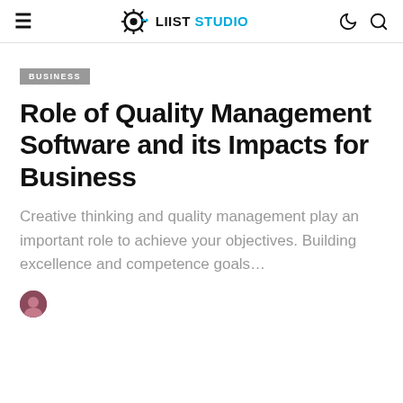≡  LIIST STUDIO
BUSINESS
Role of Quality Management Software and its Impacts for Business
Creative thinking and quality management play an important role to achieve your objectives. Building excellence and competence goals…